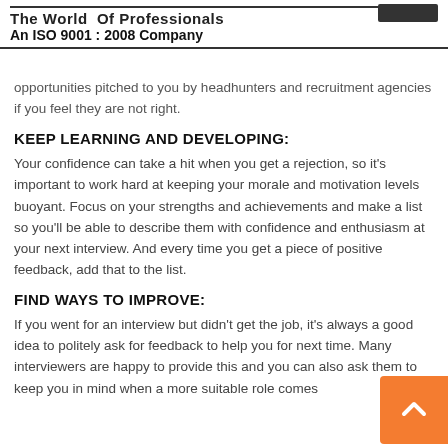The World Of Professionals
An ISO 9001 : 2008 Company
opportunities pitched to you by headhunters and recruitment agencies if you feel they are not right.
KEEP LEARNING AND DEVELOPING:
Your confidence can take a hit when you get a rejection, so it’s important to work hard at keeping your morale and motivation levels buoyant. Focus on your strengths and achievements and make a list so you’ll be able to describe them with confidence and enthusiasm at your next interview. And every time you get a piece of positive feedback, add that to the list.
FIND WAYS TO IMPROVE:
If you went for an interview but didn’t get the job, it’s always a good idea to politely ask for feedback to help you for next time. Many interviewers are happy to provide this and you can also ask them to keep you in mind when a more suitable role comes